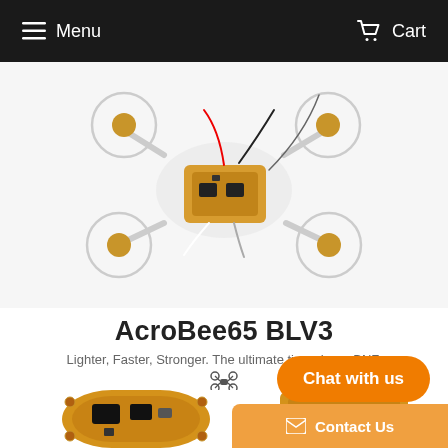Menu   Cart
[Figure (photo): A small FPV racing drone (AcroBee65 BLV3 tiny whoop) photographed on white background, showing gold motors, clear frame, and electronic components.]
AcroBee65 BLV3
Lighter, Faster, Stronger. The ultimate tiny whoop BNF.
[Figure (illustration): Small drone/quad icon (emoji style)]
[Figure (photo): Two PCB flight controller boards (gold/yellow) partially visible at bottom of page.]
Chat with us
Contact Us